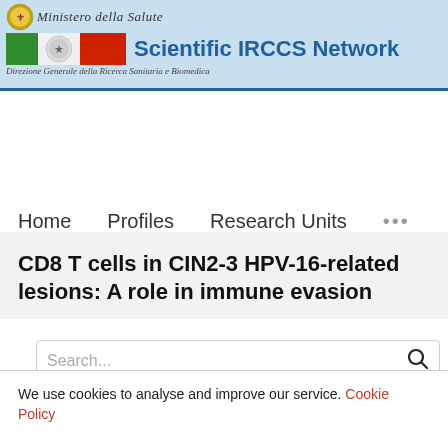Scientific IRCCS Network – Ministero della Salute – Direzione Generale della Ricerca Sanitaria e Biomedica
Home   Profiles   Research Units   ...
Search...
CD8 T cells in CIN2-3 HPV-16-related lesions: A role in immune evasion
We use cookies to analyse and improve our service. Cookie Policy